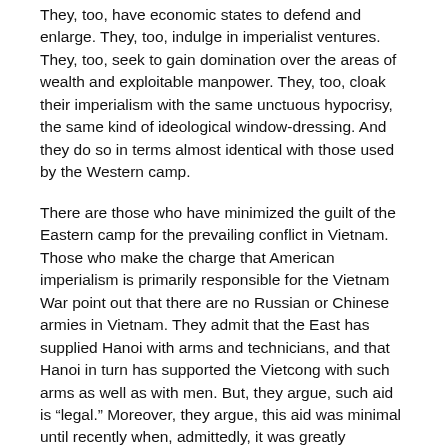They, too, have economic states to defend and enlarge. They, too, indulge in imperialist ventures. They, too, seek to gain domination over the areas of wealth and exploitable manpower. They, too, cloak their imperialism with the same unctuous hypocrisy, the same kind of ideological window-dressing. And they do so in terms almost identical with those used by the Western camp.
There are those who have minimized the guilt of the Eastern camp for the prevailing conflict in Vietnam. Those who make the charge that American imperialism is primarily responsible for the Vietnam War point out that there are no Russian or Chinese armies in Vietnam. They admit that the East has supplied Hanoi with arms and technicians, and that Hanoi in turn has supported the Vietcong with such arms as well as with men. But, they argue, such aid is “legal.” Moreover, they argue, this aid was minimal until recently when, admittedly, it was greatly increased to offset the escalated efforts of American capitalism. And even so, they continue, the aid given by the Eastern camp never did, and does not now, equal America’s contribution.
All this is mere rationalization. The Eastern camp did not limit its aid to its North Vietnam and Vietcong allies because of any regard for international laws or agreements. Its record throughout the world amply demonstrates that. It was not motivated by any moral considerations. It merely took advantage of the material